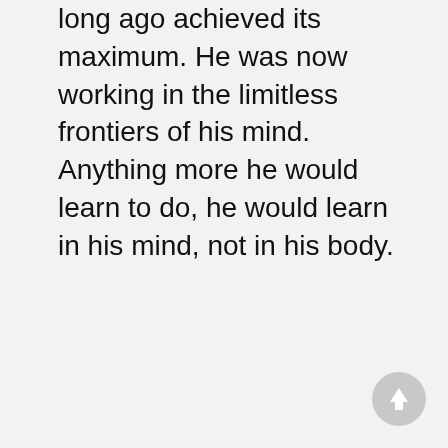long ago achieved its maximum. He was now working in the limitless frontiers of his mind. Anything more he would learn to do, he would learn in his mind, not in his body.
[Figure (other): Circular scroll-to-top button with upward arrow icon, grey background]